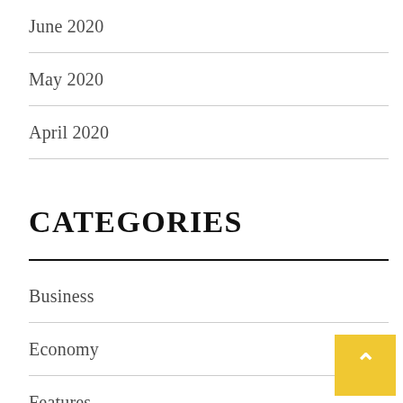June 2020
May 2020
April 2020
CATEGORIES
Business
Economy
Features